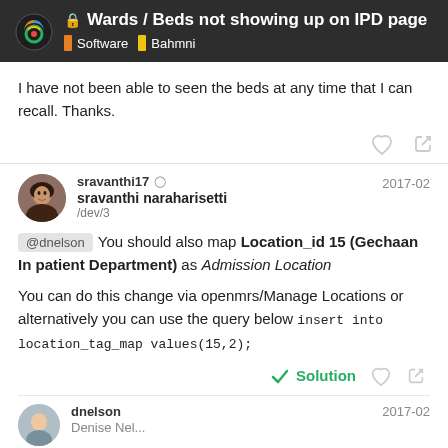Wards / Beds not showing up on IPD page | Software | Bahmni
I have not been able to seen the beds at any time that I can recall. Thanks.
sravanthi17 • sravanthi naraharisetti /dev/3 — 2017-02
@dnelson You should also map Location_id 15 (Gechaan Inpatient Department) as Admission Location

You can do this change via openmrs/Manage Locations or alternatively you can use the query below insert into location_tag_map values(15,2);
dnelson — 2017-02